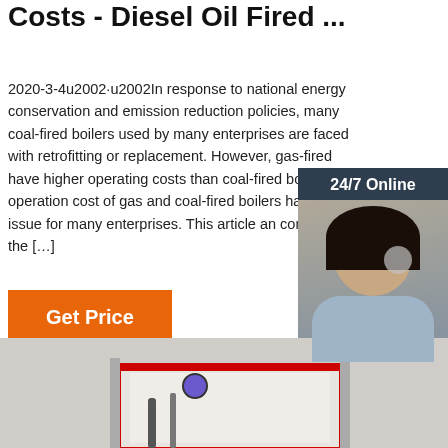Costs - Diesel Oil Fired ...
2020-3-4u2002·u2002In response to national energy conservation and emission reduction policies, many coal-fired boilers used by many enterprises are faced with retrofitting or replacement. However, gas-fired have higher operating costs than coal-fired bo operation cost of gas and coal-fired boilers ha: key issue for many enterprises. This article an compares the […]
[Figure (other): Orange 'Get Price' button]
[Figure (other): 24/7 Online chat widget with customer service representative photo, 'Click here for free chat!' text, and orange QUOTATION button]
[Figure (photo): Partial view of industrial boiler equipment at the bottom of the page]